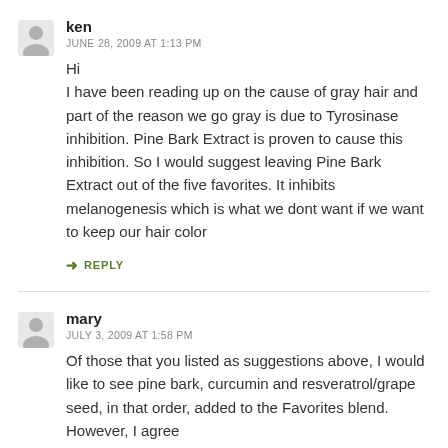ken
JUNE 28, 2009 AT 1:13 PM
Hi
I have been reading up on the cause of gray hair and part of the reason we go gray is due to Tyrosinase inhibition. Pine Bark Extract is proven to cause this inhibition. So I would suggest leaving Pine Bark Extract out of the five favorites. It inhibits melanogenesis which is what we dont want if we want to keep our hair color
REPLY
mary
JULY 3, 2009 AT 1:58 PM
Of those that you listed as suggestions above, I would like to see pine bark, curcumin and resveratrol/grape seed, in that order, added to the Favorites blend. However, I agree